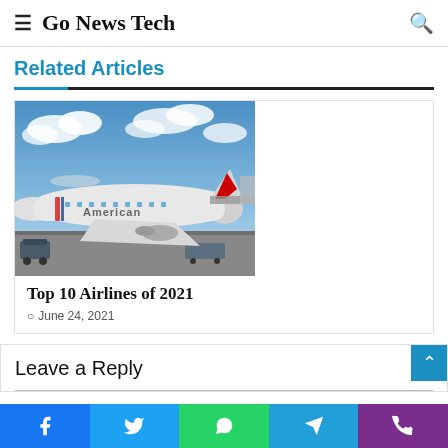Go News Tech
Related Articles
[Figure (photo): American Airlines aircraft parked at airport gate, seen from tarmac level with cloudy sky background]
Top 10 Airlines of 2021
June 24, 2021
Leave a Reply